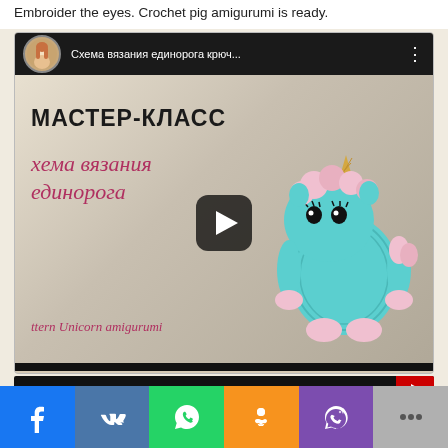Embroider the eyes. Crochet pig amigurumi is ready.
[Figure (screenshot): YouTube video thumbnail showing a crocheted unicorn amigurumi tutorial. The video bar shows title 'Схема вязания единорога крюч...' with a channel avatar. The thumbnail displays 'МАСТЕР-КЛАСС' (master class) text in Cyrillic, 'схема вязания единорога' in pink italic text, a play button overlay, and a blue crocheted unicorn toy on the right side. Below shows 'ttern Unicorn amigurumi' text.]
Social sharing bar with Facebook, VK, WhatsApp, Odnoklassniki, Viber, and more options buttons